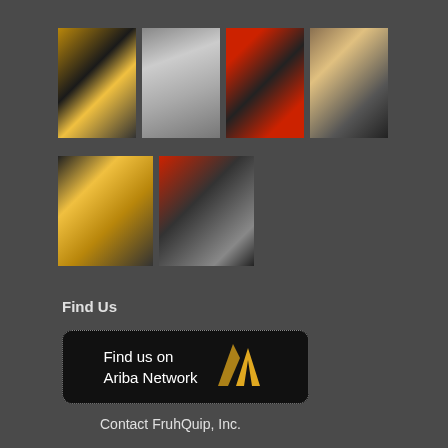[Figure (photo): Grid of 6 industrial/warehouse photographs showing forklifts, metal coils, heavy machinery, and equipment in warehouse settings]
Find Us
[Figure (logo): Find us on Ariba Network button with Ariba logo (gold double-chevron/mountain symbol)]
Contact FruhQuip, Inc.